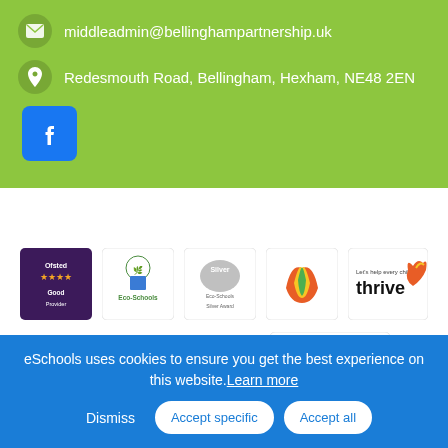middleadmin@bellinghampartnership.uk
Redesmouth Road, Bellingham, Hexham, NE48 2EN
[Figure (logo): Facebook logo button]
[Figure (logo): Row of award/accreditation logos: Ofsted Good Provider, Eco-Schools, Eco-Schools Silver Award, North and Midlands Loans logo, Thrive - Let's help every child]
[Figure (logo): Row of award logos: Music Mark School Member, School Games Bronze, The Daily Mile supported by INEOS]
eSchools uses cookies to ensure you get the best experience on this website. Learn more
Dismiss
Accept specific
Accept all